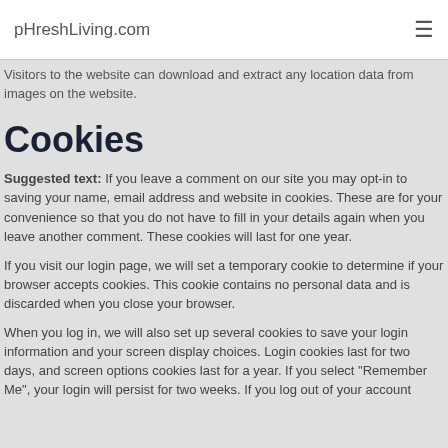pHreshLiving.com
Visitors to the website can download and extract any location data from images on the website.
Cookies
Suggested text: If you leave a comment on our site you may opt-in to saving your name, email address and website in cookies. These are for your convenience so that you do not have to fill in your details again when you leave another comment. These cookies will last for one year.
If you visit our login page, we will set a temporary cookie to determine if your browser accepts cookies. This cookie contains no personal data and is discarded when you close your browser.
When you log in, we will also set up several cookies to save your login information and your screen display choices. Login cookies last for two days, and screen options cookies last for a year. If you select "Remember Me", your login will persist for two weeks. If you log out of your account